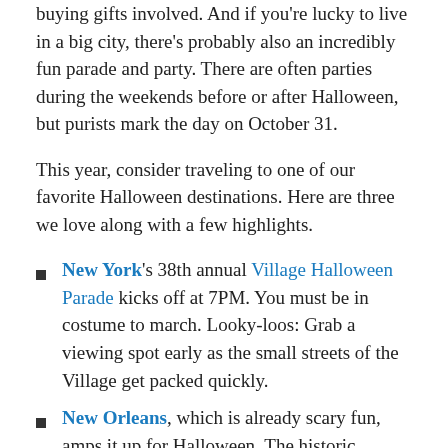buying gifts involved. And if you're lucky to live in a big city, there's probably also an incredibly fun parade and party. There are often parties during the weekends before or after Halloween, but purists mark the day on October 31.
This year, consider traveling to one of our favorite Halloween destinations. Here are three we love along with a few highlights.
New York's 38th annual Village Halloween Parade kicks off at 7PM. You must be in costume to march. Looky-loos: Grab a viewing spot early as the small streets of the Village get packed quickly.
New Orleans, which is already scary fun, amps it up for Halloween. The historic French Quarter is where the action is all weekend, but especially on the big night (October 31). The Bourbon Pub & Parade offers